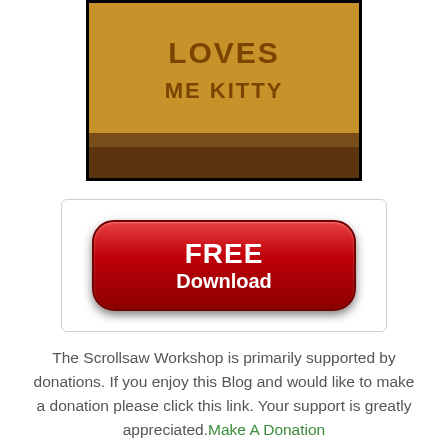[Figure (photo): Wooden scrollsaw art piece reading 'LOVES ME KITTY' on a dark wood base, shown in a black-bordered frame]
[Figure (other): Red rounded rectangle button with white text reading 'FREE Download', inside a white box with a light border]
The Scrollsaw Workshop is primarily supported by donations. If you enjoy this Blog and would like to make a donation please click this link. Your support is greatly appreciated.Make A Donation
Steve Good at 4:57:00 AM
Share
Thursday, January 27, 2011